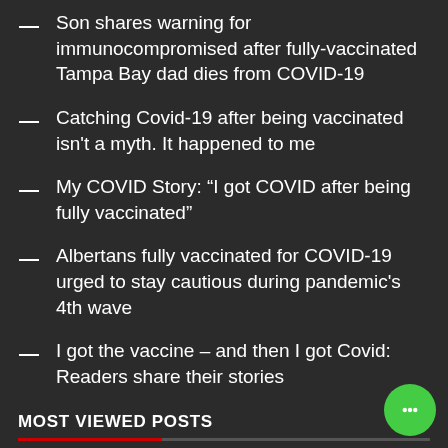Son shares warning for immunocompromised after fully-vaccinated Tampa Bay dad dies from COVID-19
Catching Covid-19 after being vaccinated isn't a myth. It happened to me
My COVID Story: “I got COVID after being fully vaccinated”
Albertans fully vaccinated for COVID-19 urged to stay cautious during pandemic's 4th wave
I got the vaccine – and then I got Covid: Readers share their stories
MOST VIEWED POSTS
No Posts found
VISITORS